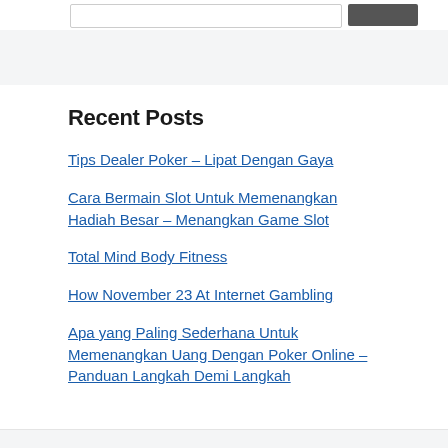[search bar and button]
Recent Posts
Tips Dealer Poker – Lipat Dengan Gaya
Cara Bermain Slot Untuk Memenangkan Hadiah Besar – Menangkan Game Slot
Total Mind Body Fitness
How November 23 At Internet Gambling
Apa yang Paling Sederhana Untuk Memenangkan Uang Dengan Poker Online – Panduan Langkah Demi Langkah